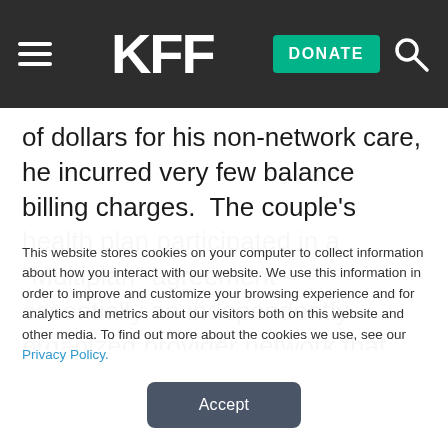KFF | DONATE
of dollars for his non-network care, he incurred very few balance billing charges.  The couple's health plan participated in a “Multiplan” agreement – essentially an independently organized provider network that supplemented the regular plan network.  Nearly all of the non-network providers who cared for George participated in the Multiplan network.  As a
This website stores cookies on your computer to collect information about how you interact with our website. We use this information in order to improve and customize your browsing experience and for analytics and metrics about our visitors both on this website and other media. To find out more about the cookies we use, see our Privacy Policy.
Accept